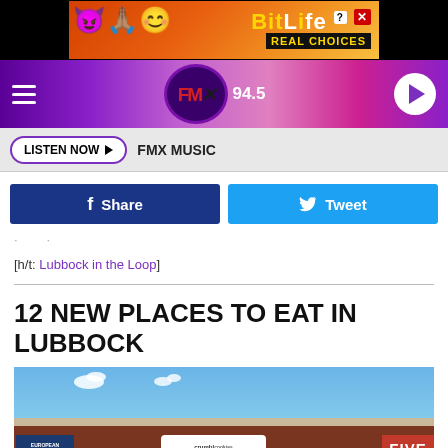[Figure (screenshot): BitLife advertisement banner with emoji characters and 'REAL CHOICES' text]
[Figure (screenshot): FMX 94.5 radio station navigation bar with hamburger menu and play button]
LISTEN NOW ▶   FMX MUSIC
f Share   🐦 Tweet
[h/t: Lubbock in the Loop]
12 NEW PLACES TO EAT IN LUBBOCK
[Figure (photo): Strip mall exterior showing Crumbl Cookies, European Wax Center, and Five Guys signs against a blue sky]